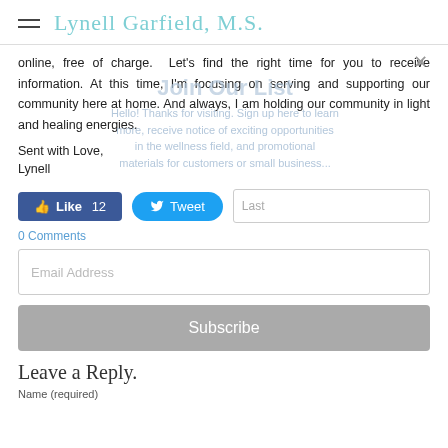Lynell Garfield, M.S.
online, free of charge. Let's find the right time for you to receive information. At this time, I'm focusing on serving and supporting our community here at home. And always, I am holding our community in light and healing energies.
Join Our List
Hello! Thanks for visiting. Sign up here to learn more, receive notice of exciting opportunities in the wellness field, and promotional materials for customers or small business...
Sent with Love,
Lynell
Like 12   Tweet   Last
0 Comments
Email Address
Subscribe
Leave a Reply.
Name (required)